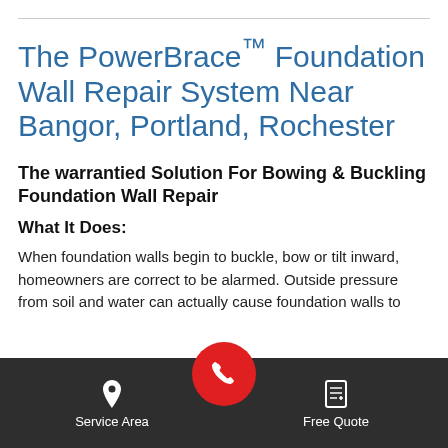The PowerBrace™ Foundation Wall Repair System Near Bangor, Portland, Rochester
The warrantied Solution For Bowing & Buckling Foundation Wall Repair
What It Does:
When foundation walls begin to buckle, bow or tilt inward, homeowners are correct to be alarmed. Outside pressure from soil and water can actually cause foundation walls to
Service Area   [phone]   Free Quote